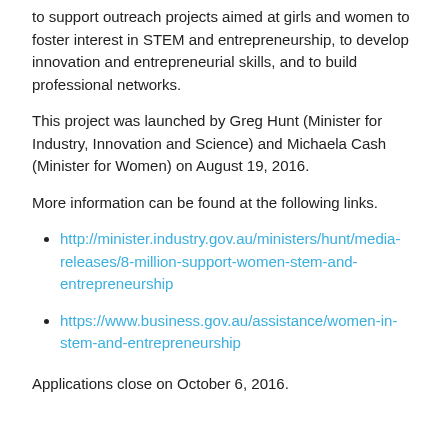to support outreach projects aimed at girls and women to foster interest in STEM and entrepreneurship, to develop innovation and entrepreneurial skills, and to build professional networks.
This project was launched by Greg Hunt (Minister for Industry, Innovation and Science) and Michaela Cash (Minister for Women) on August 19, 2016.
More information can be found at the following links.
http://minister.industry.gov.au/ministers/hunt/media-releases/8-million-support-women-stem-and-entrepreneurship
https://www.business.gov.au/assistance/women-in-stem-and-entrepreneurship
Applications close on October 6, 2016.